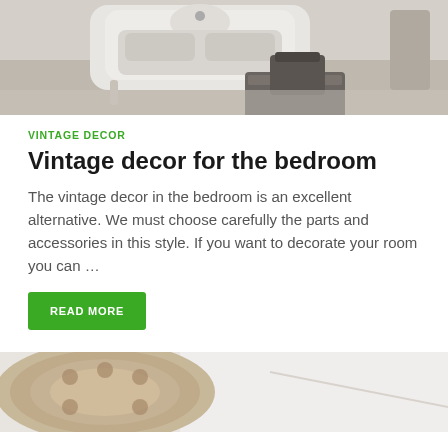[Figure (photo): Bedroom with white ornate bed frame, gray bedding, wooden floor, and a dark gray square ottoman/chest at the foot of the bed.]
VINTAGE DECOR
Vintage decor for the bedroom
The vintage decor in the bedroom is an excellent alternative. We must choose carefully the parts and accessories in this style. If you want to decorate your room you can …
READ MORE
[Figure (photo): Partial view of a decorative round rug with ornate pattern and what appears to be a white bed or furniture in a bright room.]